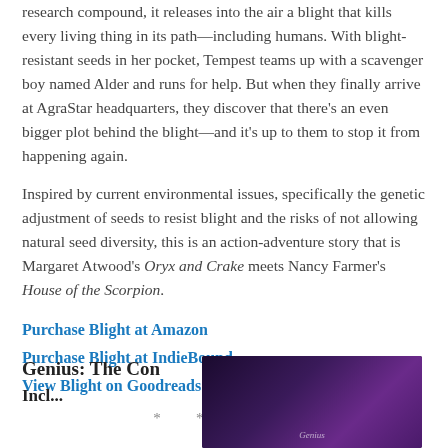research compound, it releases into the air a blight that kills every living thing in its path—including humans. With blight-resistant seeds in her pocket, Tempest teams up with a scavenger boy named Alder and runs for help. But when they finally arrive at AgraStar headquarters, they discover that there's an even bigger plot behind the blight—and it's up to them to stop it from happening again.
Inspired by current environmental issues, specifically the genetic adjustment of seeds to resist blight and the risks of not allowing natural seed diversity, this is an action-adventure story that is Margaret Atwood's Oryx and Crake meets Nancy Farmer's House of the Scorpion.
Purchase Blight at Amazon
Purchase Blight at IndieBound
View Blight on Goodreads
* * * *
Genius: The Con
[Figure (photo): Book cover for Genius: The Con, dark purple/blue toned background with orange text elements]